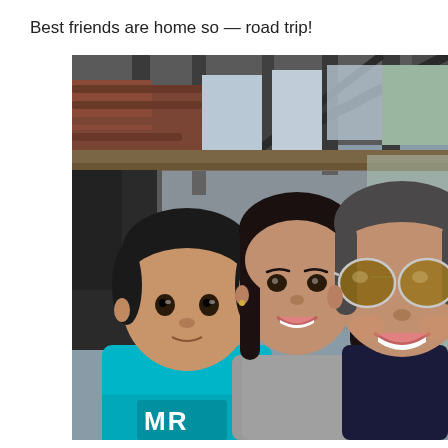Best friends are home so — road trip!
[Figure (photo): A selfie photo of three people: a young boy in a teal/blue shirt with 'MR' text, a smiling woman with dark hair in the middle, and a woman on the right wearing aviator sunglasses and a dark top. They are indoors near large windows with a wooden structure visible in the background.]